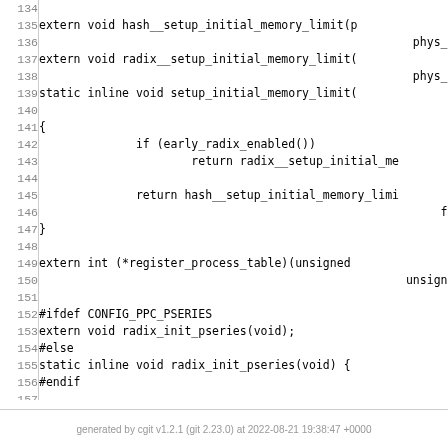[Figure (screenshot): Source code listing showing lines 134-159 of a C header file (mmu.h) for Linux PowerPC architecture, with line numbers on the left and code on the right.]
generated by cgit v1.2.1 (git 2.23.0) at 2022-08-21 19:38:47 +0000